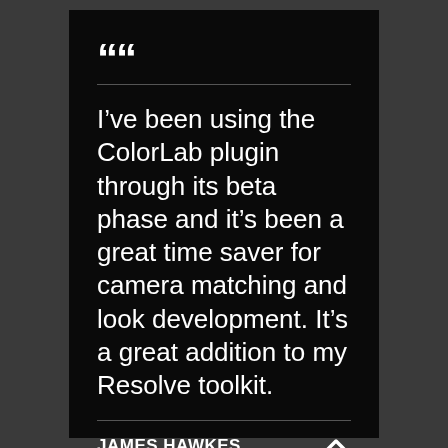““
I’ve been using the ColorLab plugin through its beta phase and it’s been a great time saver for camera matching and look development. It’s a great addition to my Resolve toolkit.
JAMES HAWKES